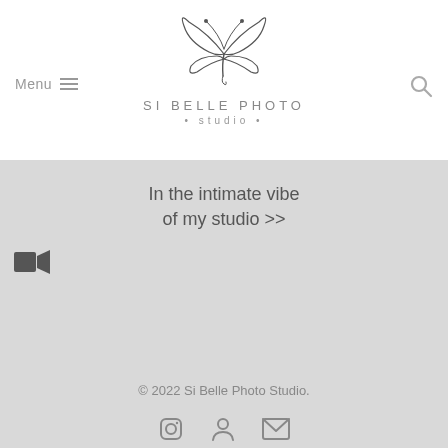[Figure (logo): Si Belle Photo Studio logo with butterfly line drawing and text]
Menu ≡
[Figure (other): Search icon (magnifying glass)]
In the intimate vibe of my studio >>
[Figure (other): Video camera icon]
© 2022 Si Belle Photo Studio.
[Figure (other): Social media icons: Instagram, person/user, email]